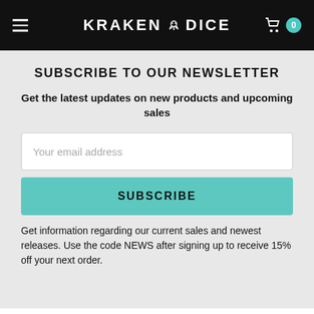KRAKEN DICE
SUBSCRIBE TO OUR NEWSLETTER
Get the latest updates on new products and upcoming sales
Your email address
SUBSCRIBE
Get information regarding our current sales and newest releases. Use the code NEWS after signing up to receive 15% off your next order.